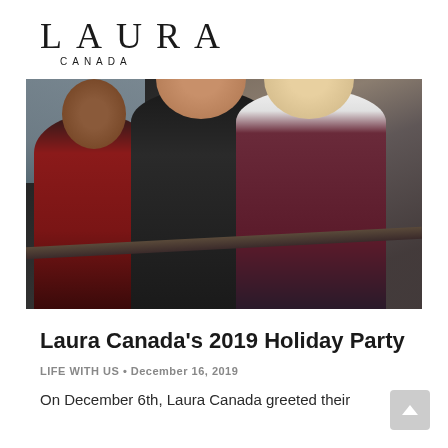[Figure (logo): Laura Canada logo — LAURA in large serif letters with CANADA in small spaced caps below]
[Figure (photo): Three women posing together at a holiday party event. Left: young woman in red top. Center: woman with glasses in black outfit. Right: tall blonde woman in white top and dark dress. Behind them is a large event space filled with seated guests and a railing in the foreground.]
Laura Canada's 2019 Holiday Party
LIFE WITH US • December 16, 2019
On December 6th, Laura Canada greeted their